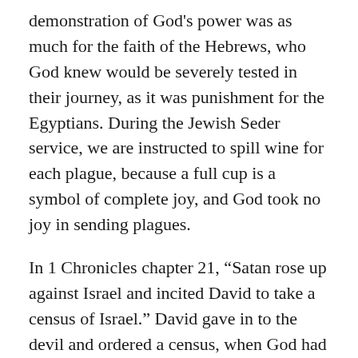demonstration of God's power was as much for the faith of the Hebrews, who God knew would be severely tested in their journey, as it was punishment for the Egyptians. During the Jewish Seder service, we are instructed to spill wine for each plague, because a full cup is a symbol of complete joy, and God took no joy in sending plagues.
In 1 Chronicles chapter 21, “Satan rose up against Israel and incited David to take a census of Israel.” David gave in to the devil and ordered a census, when God had clearly ordered David to trust in Him, not in military might. Further, David’s commander, Joab, found the command repulsive, and did not report accurate results, leaving out the tribes of Levi and Benjamin.